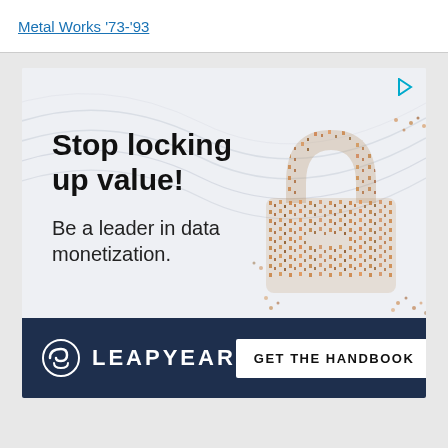Metal Works '73-'93
[Figure (illustration): Advertisement banner for Leapyear featuring a padlock shape formed by crowd of people, text 'Stop locking up value! Be a leader in data monetization.' with Leapyear logo and CTA button 'GET THE HANDBOOK']